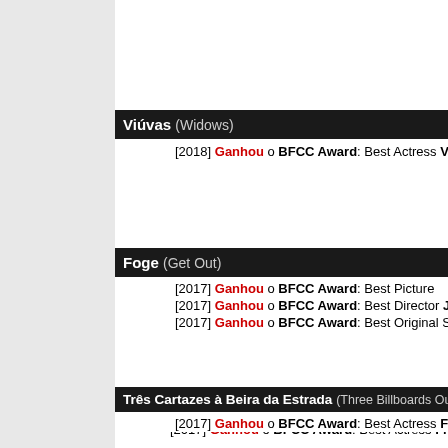Viúvas (Widows)
[2018] Ganhou o BFCC Award: Best Actress Viola Davi
Foge (Get Out)
[2017] Ganhou o BFCC Award: Best Picture
[2017] Ganhou o BFCC Award: Best Director Jordan P
[2017] Ganhou o BFCC Award: Best Original Screenpla
Três Cartazes à Beira da Estrada (Three Billboards Outside B
[2017] Ganhou o BFCC Award: Best Actress Frances M
The Florida Project ()
[2017] Ganhou o BFCC Award: Best Supporting Actor W
Voltar ao topo ↑